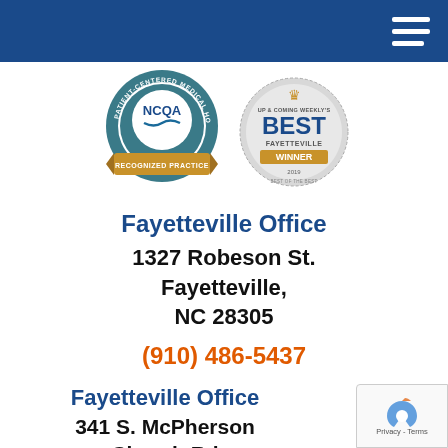[Figure (logo): Dark blue navigation header bar with hamburger menu icon (three white horizontal lines) on the right side]
[Figure (logo): NCQA Patient-Centered Medical Home Recognized Practice badge - circular teal/gold badge with NCQA logo]
[Figure (logo): Up & Coming Weekly's Best Fayetteville Winner 2019 badge - circular silver/gold badge]
Fayetteville Office
1327 Robeson St.
Fayetteville,
NC 28305
(910) 486-5437
Fayetteville Office
341 S. McPherson
Church Rd